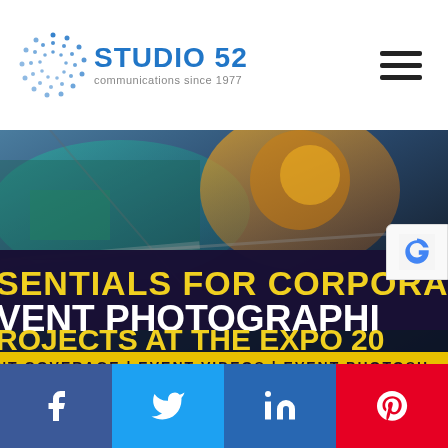[Figure (logo): Studio 52 logo with dot-circle icon and text 'STUDIO 52 communications since 1977']
[Figure (photo): Aerial view of expo site with overlaid bold text: 'ESSENTIALS FOR CORPORATE EVENT PHOTOGRAPHY PROJECTS AT THE EXPO 202' and banner 'NT COVERAGE | EVENT VIDEOS | EVENT PHOTOSH']
[Figure (infographic): Social share bar with four buttons: Facebook (blue), Twitter (light blue), LinkedIn (dark blue), Pinterest (red)]